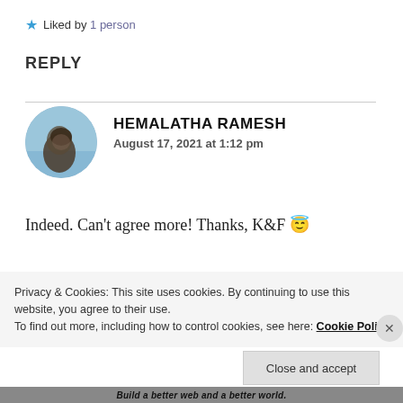★ Liked by 1 person
REPLY
[Figure (photo): Circular avatar photo of Hemalatha Ramesh showing a person against a blue sky background]
HEMALATHA RAMESH
August 17, 2021 at 1:12 pm
Indeed. Can't agree more! Thanks, K&F 😇
Privacy & Cookies: This site uses cookies. By continuing to use this website, you agree to their use.
To find out more, including how to control cookies, see here: Cookie Policy
Close and accept
Build a better web and a better world.